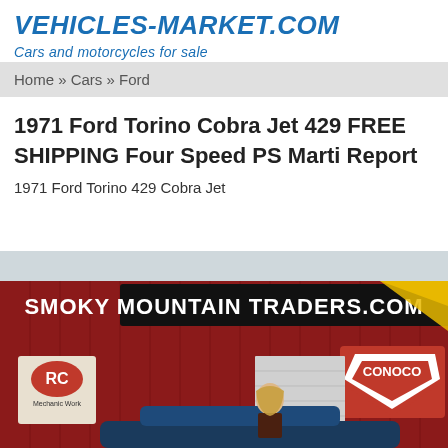VEHICLES-MARKET.COM
Cars and motorcycles for sale
Home » Cars » Ford
1971 Ford Torino Cobra Jet 429 FREE SHIPPING Four Speed PS Marti Report
1971 Ford Torino 429 Cobra Jet
[Figure (photo): Photo of a 1971 Ford Torino 429 Cobra Jet parked in front of a red barn building with a 'Smoky Mountain Traders.com' sign, RC Mechanic Work logo on the left, and a Conoco sign on the right. A woman with long blonde hair stands next to the car.]